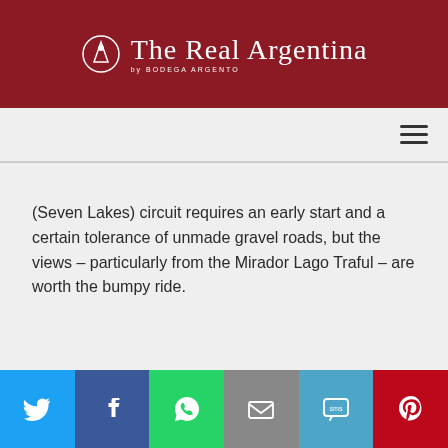The Real Argentina by BODEGA ARGENTO
(Seven Lakes) circuit requires an early start and a certain tolerance of unmade gravel roads, but the views – particularly from the Mirador Lago Traful – are worth the bumpy ride.
[Figure (infographic): Social sharing footer bar with icons for Twitter, Facebook, WhatsApp, Email, SMS, and Pinterest]